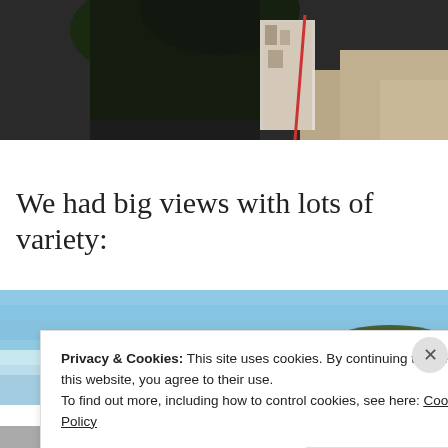[Figure (photo): Partial view of a person hiking on a trail with trees and a path visible, shot from below/mid-level]
We had big views with lots of variety:
[Figure (photo): Landscape photo showing a blue sky, mountain or hill with trees, and a body of water or light sky area]
Privacy & Cookies: This site uses cookies. By continuing to use this website, you agree to their use.
To find out more, including how to control cookies, see here: Cookie Policy
Close and accept